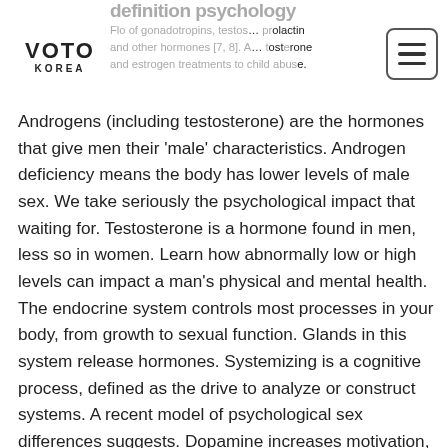definition psychology
Flo of gonadotropins, testos… prolactin and other hormones [7, 8]. A… testosterone and estrogen treatments to child abuse.
[Figure (logo): VOTO KOREA logo in bold black text]
[Figure (other): Hamburger menu button icon]
Androgens (including testosterone) are the hormones that give men their 'male' characteristics. Androgen deficiency means the body has lower levels of male sex. We take seriously the psychological impact that waiting for. Testosterone is a hormone found in men, less so in women. Learn how abnormally low or high levels can impact a man's physical and mental health. The endocrine system controls most processes in your body, from growth to sexual function. Glands in this system release hormones. Systemizing is a cognitive process, defined as the drive to analyze or construct systems. A recent model of psychological sex differences suggests. Dopamine increases motivation, attention, cognitive function, and creativity. Effects on testosterone levels even